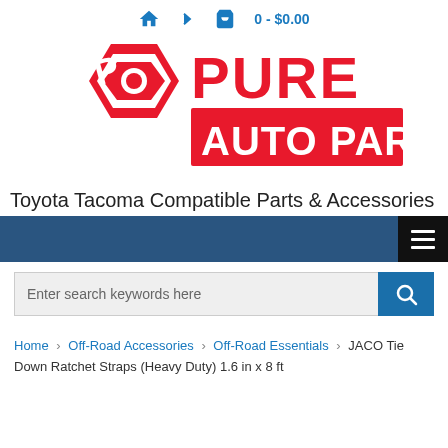🏠 → 🛒 0 - $0.00
[Figure (logo): Pure Auto Parts logo — red hexagon bolt icon on left, red block lettering 'PURE AUTO PARTS' on right]
Toyota Tacoma Compatible Parts & Accessories
[Figure (screenshot): Dark blue navigation bar with hamburger menu button (three horizontal lines on black square) on the right]
[Figure (screenshot): Search bar with placeholder text 'Enter search keywords here' and teal search button with magnifying glass icon]
Home > Off-Road Accessories > Off-Road Essentials > JACO Tie Down Ratchet Straps (Heavy Duty) 1.6 in x 8 ft